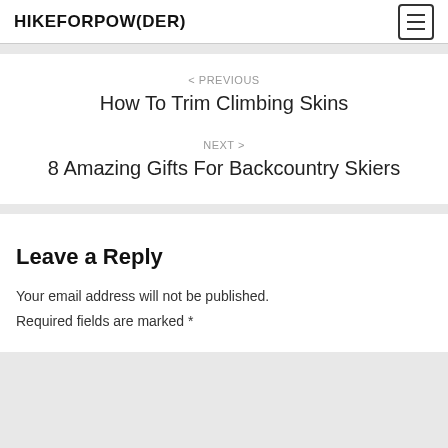HIKEFORPOW(DER)
< PREVIOUS
How To Trim Climbing Skins
NEXT >
8 Amazing Gifts For Backcountry Skiers
Leave a Reply
Your email address will not be published.
Required fields are marked *